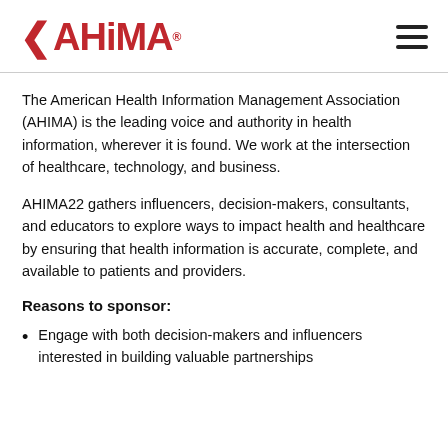[Figure (logo): AHIMA logo in red with left-pointing chevron, and hamburger menu icon on the right]
The American Health Information Management Association (AHIMA) is the leading voice and authority in health information, wherever it is found. We work at the intersection of healthcare, technology, and business.
AHIMA22 gathers influencers, decision-makers, consultants, and educators to explore ways to impact health and healthcare by ensuring that health information is accurate, complete, and available to patients and providers.
Reasons to sponsor:
Engage with both decision-makers and influencers interested in building valuable partnerships